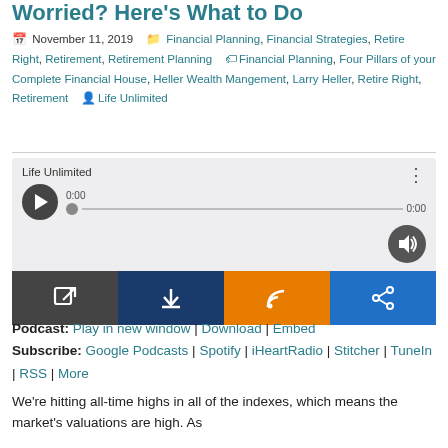Worried? Here's What to Do
November 11, 2019  Financial Planning, Financial Strategies, Retire Right, Retirement, Retirement Planning  Financial Planning, Four Pillars of your Complete Financial House, Heller Wealth Mangement, Larry Heller, Retire Right, Retirement  Life Unlimited
[Figure (screenshot): Podcast audio player widget with play button, progress bar showing 0:00, volume control, and four icon buttons: external link (dark), download (navy), RSS (orange), share (blue). Labeled 'Life Unlimited'.]
Podcast: Play in new window | Download | Embed
Subscribe: Google Podcasts | Spotify | iHeartRadio | Stitcher | TuneIn | RSS | More
We're hitting all-time highs in all of the indexes, which means the market's valuations are high. As